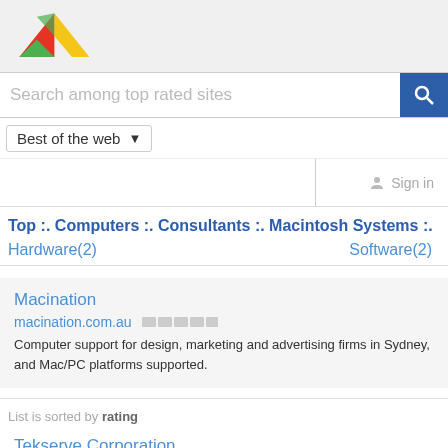[Figure (logo): Colorful triangular logo (red, green, yellow triangles)]
Search among top rated sites
Best of the web ▾
Sign in
Top :. Computers :. Consultants :. Macintosh Systems :.
Hardware(2)
Software(2)
Macination
macination.com.au
Computer support for design, marketing and advertising firms in Sydney, and Mac/PC platforms supported.
List is sorted by rating
Tekserve Corporation